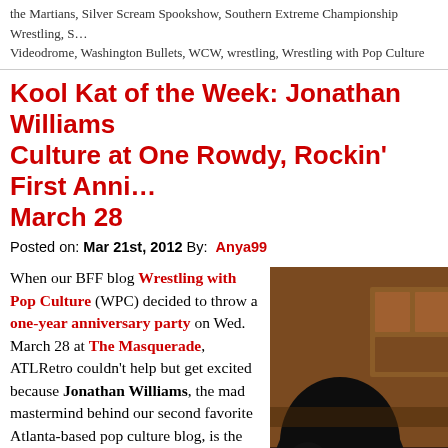the Martians, Silver Scream Spookshow, Southern Extreme Championship Wrestling, S… Videodrome, Washington Bullets, WCW, wrestling, Wrestling with Pop Culture
Kool Kat of the Week: Jonathan Williams Culture at One Rowdy, Rockin' First Anni… March 28
Posted on: Mar 21st, 2012 By: Anya99
When our BFF blog Wrestling with Pop Culture (WPC) decided to throw a one-year anniversary party on Wed. March 28 at The Masquerade, ATLRetro couldn't help but get excited because Jonathan Williams, the mad mastermind behind our second favorite Atlanta-based pop culture blog, is the absolute personifcation of one Kool Kat. Long before either of us took that leap of faith to pull the trigger on our own projects, we found ourselves hanging together at those media receptions, dinners and openings that us freelance writers call breakfast, lunch, dinner and happy hour – that fine
[Figure (photo): Close-up photo of a person with dark hair, seen from behind/side, in a dimly lit room with wooden furniture visible in background.]